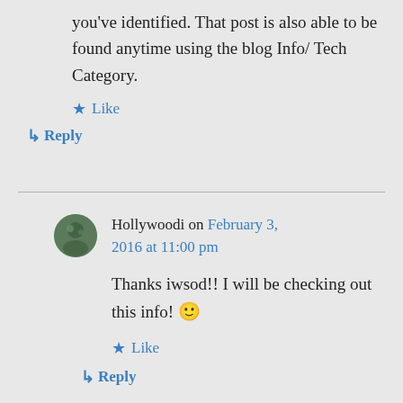you've identified. That post is also able to be found anytime using the blog Info/ Tech Category.
★ Like
↳ Reply
Hollywoodi on February 3, 2016 at 11:00 pm
Thanks iwsod!! I will be checking out this info! 🙂
★ Like
↳ Reply